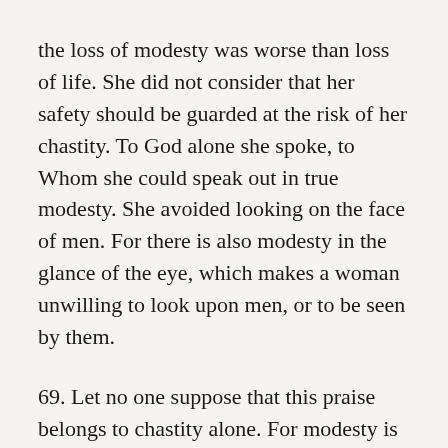the loss of modesty was worse than loss of life. She did not consider that her safety should be guarded at the risk of her chastity. To God alone she spoke, to Whom she could speak out in true modesty. She avoided looking on the face of men. For there is also modesty in the glance of the eye, which makes a woman unwilling to look upon men, or to be seen by them.
69. Let no one suppose that this praise belongs to chastity alone. For modesty is the companion of purity, in company with which chastity itself is safer. Shame, again, is good as a companion and guide of chastity, inasmuch as it does not suffer purity to be defiled in approaching even the outskirts of danger. This it is that, at the very outset of her recognition, commends the Mother of the Lord to those who